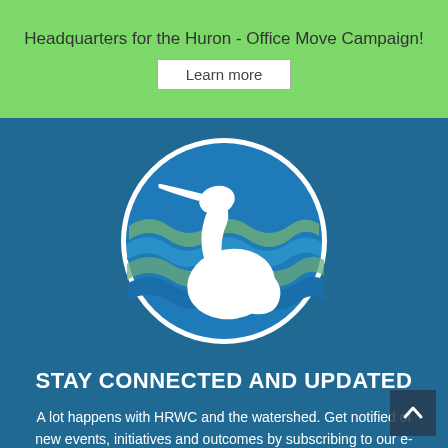Headquarters for the Huron - Office Move Campaign!
Learn more
[Figure (logo): HRWC circular logo featuring a white heron silhouette over blue and green wavy water stripes on a blue background, with a white circle border]
STAY CONNECTED AND UPDATED
A lot happens with HRWC and the watershed. Get notified of new events, initiatives and outcomes by subscribing to our e-mail newsletter.